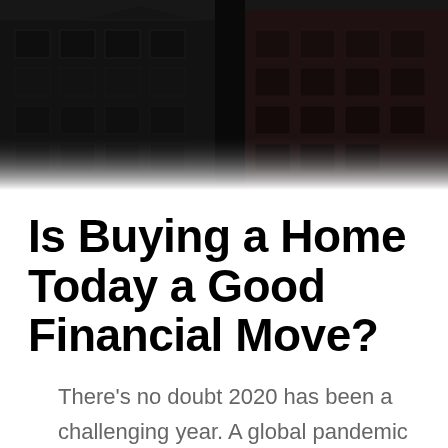[Figure (photo): Dark overhead photo of classical brick building facades, showing architectural details of upper floors with windows and decorative elements, tinted dark/charcoal]
Is Buying a Home Today a Good Financial Move?
There's no doubt 2020 has been a challenging year. A global pandemic coupled with an